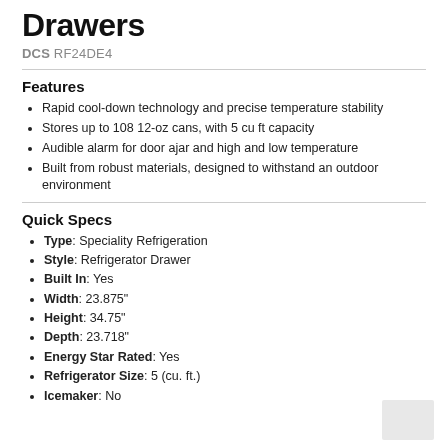Drawers
DCS RF24DE4
Features
Rapid cool-down technology and precise temperature stability
Stores up to 108 12-oz cans, with 5 cu ft capacity
Audible alarm for door ajar and high and low temperature
Built from robust materials, designed to withstand an outdoor environment
Quick Specs
Type: Speciality Refrigeration
Style: Refrigerator Drawer
Built In: Yes
Width: 23.875"
Height: 34.75"
Depth: 23.718"
Energy Star Rated: Yes
Refrigerator Size: 5 (cu. ft.)
Icemaker: No